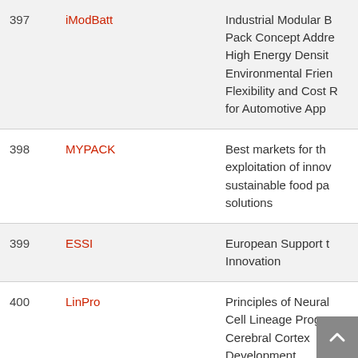| # | Project | Description |
| --- | --- | --- |
| 397 | iModBatt | Industrial Modular Battery Pack Concept Addressing High Energy Density, Environmental Friendliness, Flexibility and Cost Reduction for Automotive Applications |
| 398 | MYPACK | Best markets for the exploitation of innovative sustainable food packaging solutions |
| 399 | ESSI | European Support to Innovation |
| 400 | LinPro | Principles of Neural Cell Lineage Progression in Cerebral Cortex Development |
| 401 | ERIEH | Exact Results in Extended Holography |